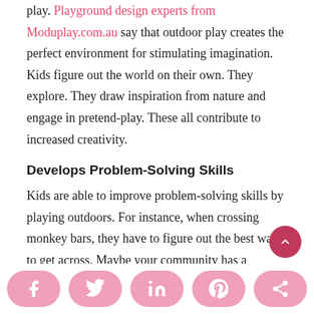play. Playground design experts from Moduplay.com.au say that outdoor play creates the perfect environment for stimulating imagination. Kids figure out the world on their own. They explore. They draw inspiration from nature and engage in pretend-play. These all contribute to increased creativity.
Develops Problem-Solving Skills
Kids are able to improve problem-solving skills by playing outdoors. For instance, when crossing monkey bars, they have to figure out the best way to get across. Maybe your community has a playground that features mazes. These environments also help promote problem solving in a fun, not forced way.